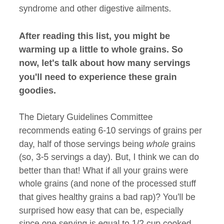syndrome and other digestive ailments.
After reading this list, you might be warming up a little to whole grains. So now, let's talk about how many servings you'll need to experience these grain goodies.
The Dietary Guidelines Committee recommends eating 6-10 servings of grains per day, half of those servings being whole grains (so, 3-5 servings a day). But, I think we can do better than that! What if all your grains were whole grains (and none of the processed stuff that gives healthy grains a bad rap)? You'll be surprised how easy that can be, especially since one serving is equal to 1/2 cup cooked whole grain, 1 slice of whole grain bread or 1 ounce of whole grain